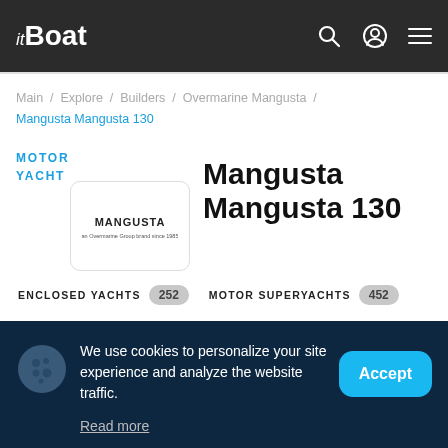itBoat
Main / Explore / Builders / Overmarine Mangusta / Mangusta Mangusta 130
MOTOR YACHT
[Figure (logo): Mangusta brand logo — stylized text MANGUSTA, an Overmarine Group brand since 1985]
Mangusta Mangusta 130
ENCLOSED YACHTS 252   MOTOR SUPERYACHTS 452
We use cookies to personalize your site experience and analyze the website traffic.
Read more